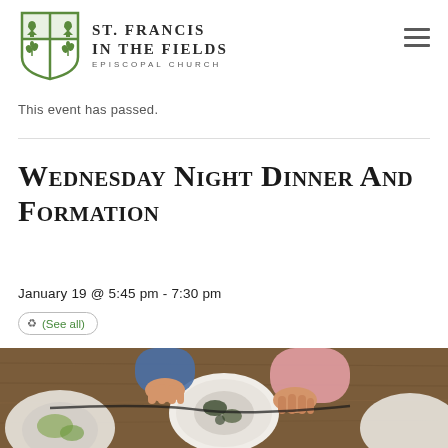[Figure (logo): St. Francis in the Fields Episcopal Church shield logo with green cross and chalice/plant symbols, alongside church name text]
This event has passed.
Wednesday Night Dinner and Formation
January 19 @ 5:45 pm - 7:30 pm
(See all)
[Figure (photo): Overhead view of people at a dinner table with plates of food, hands visible passing dishes]